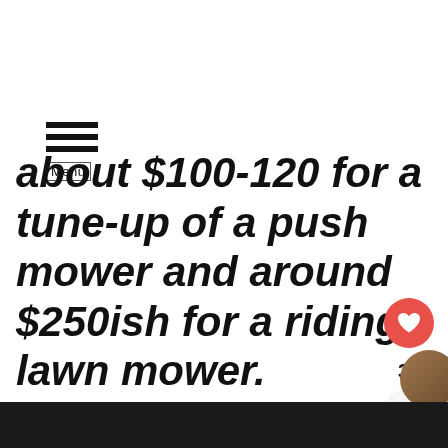[Figure (other): Hamburger menu icon with three horizontal lines and 'Menu' label below]
about $100-120 for a tune-up of a push mower and around $250ish for a riding lawn mower.
[Figure (other): Like button (heart icon, red circle) showing count 31, and share button below]
[Figure (photo): Partial circular photo thumbnail in bottom right corner]
[Figure (other): Black bottom bar]